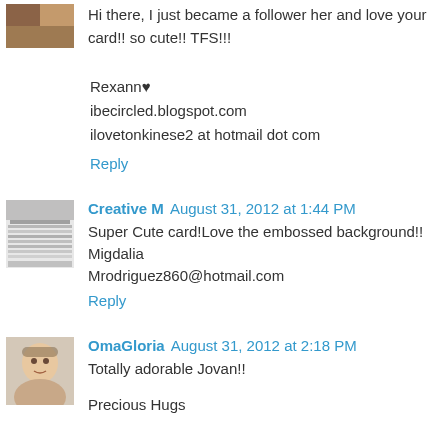[Figure (photo): Small thumbnail avatar image top left, partially visible]
Hi there, I just became a follower her and love your card!! so cute!! TFS!!!
Rexann♥
ibecircled.blogspot.com
ilovetonkinese2 at hotmail dot com
Reply
[Figure (photo): Small thumbnail avatar image for Creative M comment]
Creative M August 31, 2012 at 1:44 PM
Super Cute card!Love the embossed background!!
Migdalia
Mrodriguez860@hotmail.com
Reply
[Figure (photo): Small thumbnail avatar image for OmaGloria comment]
OmaGloria August 31, 2012 at 2:18 PM
Totally adorable Jovan!!
Precious Hugs